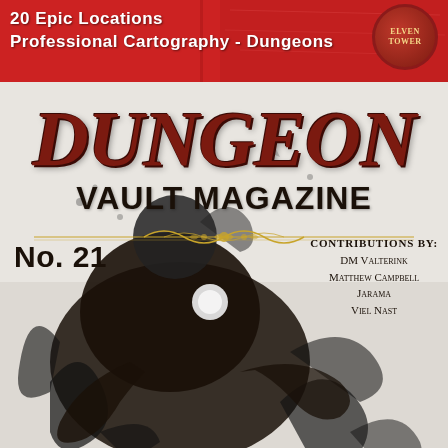20 Epic Locations
Professional Cartography - Dungeons
[Figure (illustration): Elven Tower circular badge/seal in red and gold]
DUNGEON
Vault Magazine
[Figure (illustration): Ornamental gold filigree divider line]
No. 21
Contributions by:
DM Valterink
Matthew Campbell
Jarama
Viel Nast
[Figure (illustration): Black ink splatter illustration of a dark creature/figure on white/grey background]